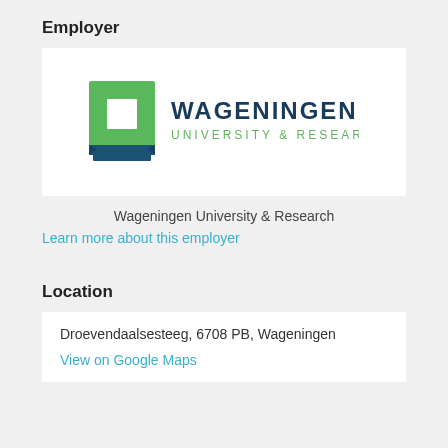Employer
[Figure (logo): Wageningen University & Research logo — green square icon with white square inside, blue ribbon base, dark blue text WAGENINGEN, green text UNIVERSITY & RESEARCH]
Wageningen University & Research
Learn more about this employer
Location
Droevendaalsesteeg, 6708 PB, Wageningen
View on Google Maps